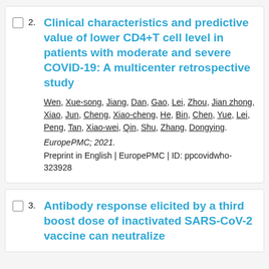2. Clinical characteristics and predictive value of lower CD4+T cell level in patients with moderate and severe COVID-19: A multicenter retrospective study
Wen, Xue-song, Jiang, Dan, Gao, Lei, Zhou, Jian zhong, Xiao, Jun, Cheng, Xiao-cheng, He, Bin, Chen, Yue, Lei, Peng, Tan, Xiao-wei, Qin, Shu, Zhang, Dongying.
EuropePMC; 2021.
Preprint in English | EuropePMC | ID: ppcovidwho-323928
3. Antibody response elicited by a third boost dose of inactivated SARS-CoV-2 vaccine can neutralize